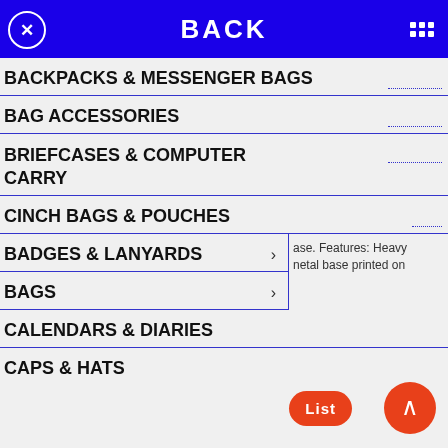BACK
BACKPACKS & MESSENGER BAGS
BAG ACCESSORIES
BRIEFCASES & COMPUTER CARRY
CINCH BAGS & POUCHES
BADGES & LANYARDS
BAGS
CALENDARS & DIARIES
CAPS & HATS